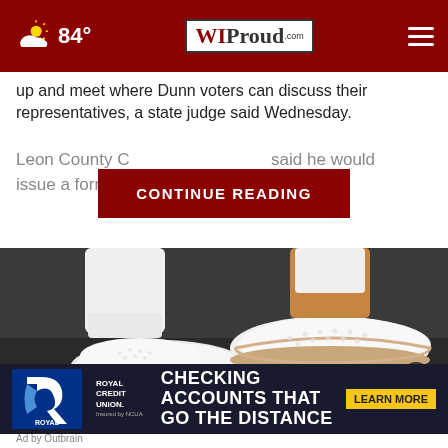84° | WIProud.com
up and meet where Dunn voters can discuss their representatives, a state judge said Wednesday.
Leon County C... said he would issue a forma... to keep the...
[Figure (screenshot): CONTINUE READING button overlay on faded article text]
[Figure (photo): Close-up photo of person wearing white perforated slip-on shoes/sneakers with tan sole, white pants, on pavement]
[Figure (infographic): Royal Credit Union advertisement: CHECKING ACCOUNTS THAT GO THE DISTANCE - LEARN MORE. Insured by NCUA.]
Ad by Outbrain